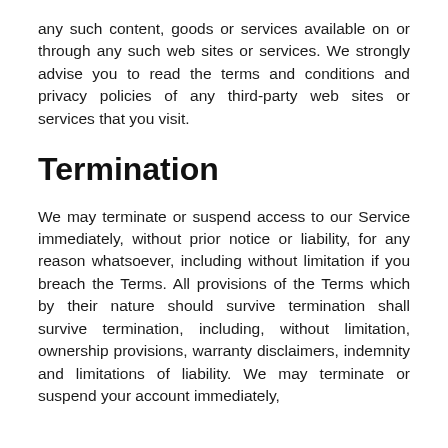any such content, goods or services available on or through any such web sites or services. We strongly advise you to read the terms and conditions and privacy policies of any third-party web sites or services that you visit.
Termination
We may terminate or suspend access to our Service immediately, without prior notice or liability, for any reason whatsoever, including without limitation if you breach the Terms. All provisions of the Terms which by their nature should survive termination shall survive termination, including, without limitation, ownership provisions, warranty disclaimers, indemnity and limitations of liability. We may terminate or suspend your account immediately,